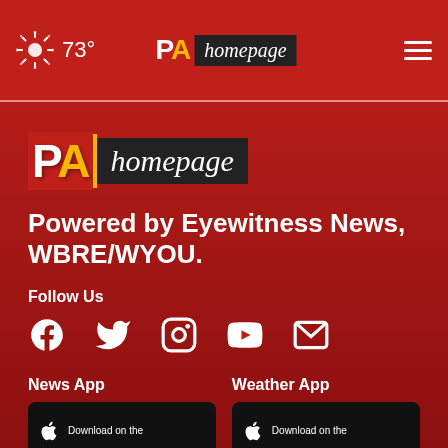73° PA homepage
[Figure (logo): PA homepage logo - large version with yellow accent bar]
Powered by Eyewitness News, WBRE/WYOU.
Follow Us
[Figure (infographic): Social media icons: Facebook, Twitter, Instagram, YouTube, Email]
News App
Weather App
[Figure (infographic): Download on the App Store buttons for News App and Weather App]